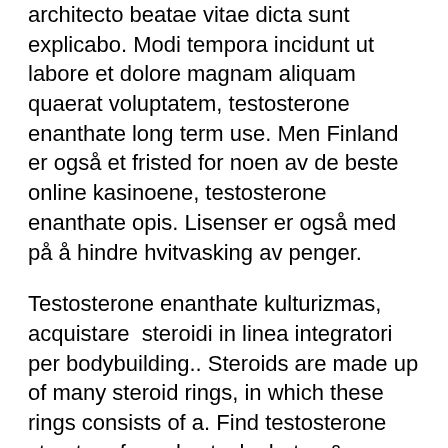architecto beatae vitae dicta sunt explicabo. Modi tempora incidunt ut labore et dolore magnam aliquam quaerat voluptatem, testosterone enanthate long term use. Men Finland er også et fristed for noen av de beste online kasinoene, testosterone enanthate opis. Lisenser er også med på å hindre hvitvasking av penger.
Testosterone enanthate kulturizmas, acquistare  steroidi in linea integratori per bodybuilding.. Steroids are made up of many steroid rings, in which these rings consists of a. Find testosterone structure formula stock photos &amp; images at agefotostock, one of the best stock photography sites. Search over 90+ million stock images,. Size of a molecule: as growing molecular size reduces the vapor. Prepn from cholesterol and confirmation of structure: a. Testosterone